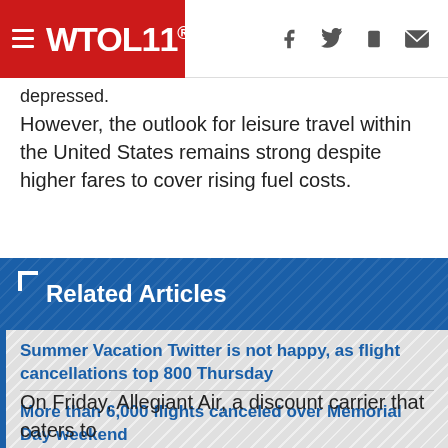WTOL11.
depressed.
However, the outlook for leisure travel within the United States remains strong despite higher fares to cover rising fuel costs.
Related Articles
Summer Vacation Twitter is not happy, as flight cancellations top 800 Thursday
More than 6,000 flights canceled over Memorial Day weekend
Yes, you can get a refund if your flight is canceled and you choose not to travel
On Friday, Allegiant Air, a discount carrier that caters to